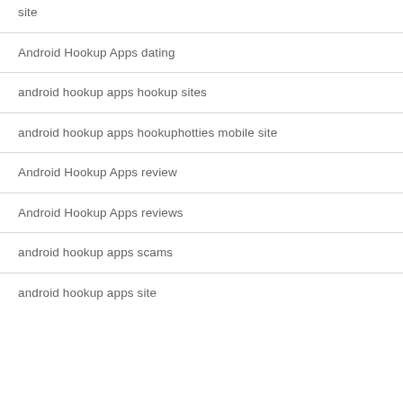site
Android Hookup Apps dating
android hookup apps hookup sites
android hookup apps hookuphotties mobile site
Android Hookup Apps review
Android Hookup Apps reviews
android hookup apps scams
android hookup apps site